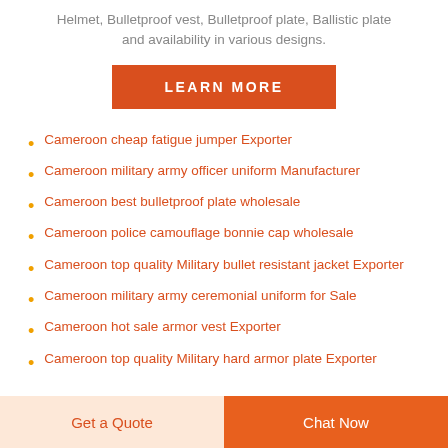Helmet, Bulletproof vest, Bulletproof plate, Ballistic plate and availability in various designs.
[Figure (other): Orange 'LEARN MORE' button]
Cameroon cheap fatigue jumper Exporter
Cameroon military army officer uniform Manufacturer
Cameroon best bulletproof plate wholesale
Cameroon police camouflage bonnie cap wholesale
Cameroon top quality Military bullet resistant jacket Exporter
Cameroon military army ceremonial uniform for Sale
Cameroon hot sale armor vest Exporter
Cameroon top quality Military hard armor plate Exporter
Get a Quote   Chat Now